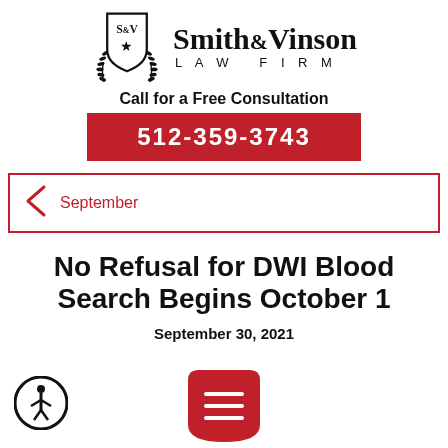[Figure (logo): Smith & Vinson Law Firm logo with shield emblem and laurel wreath]
Call for a Free Consultation
512-359-3743
September
No Refusal for DWI Blood Search Begins October 1
September 30, 2021